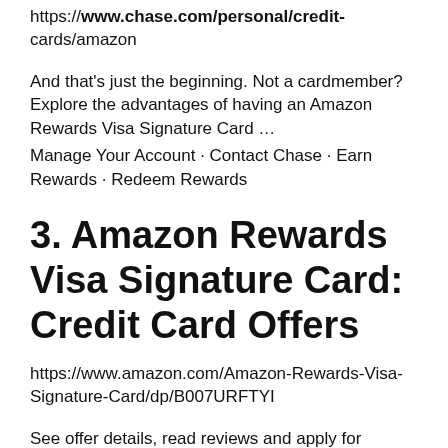https://www.chase.com/personal/credit-cards/amazon
And that's just the beginning. Not a cardmember? Explore the advantages of having an Amazon Rewards Visa Signature Card …
Manage Your Account · Contact Chase · Earn Rewards · Redeem Rewards
3. Amazon Rewards Visa Signature Card: Credit Card Offers
https://www.amazon.com/Amazon-Rewards-Visa-Signature-Card/dp/B007URFTYI
See offer details, read reviews and apply for